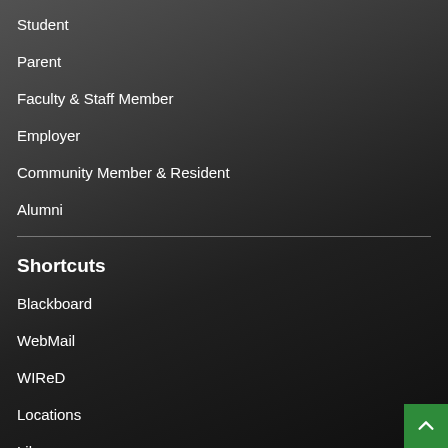Student
Parent
Faculty & Staff Member
Employer
Community Member & Resident
Alumni
Shortcuts
Blackboard
WebMail
WIReD
Locations
Library
Directories